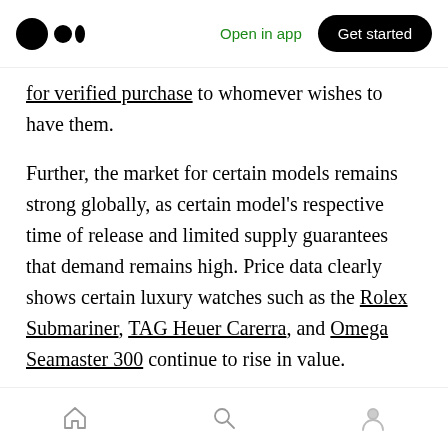Medium logo | Open in app | Get started
for verified purchase to whomever wishes to have them.
Further, the market for certain models remains strong globally, as certain model's respective time of release and limited supply guarantees that demand remains high. Price data clearly shows certain luxury watches such as the Rolex Submariner, TAG Heuer Carerra, and Omega Seamaster 300 continue to rise in value.
High-value watches such as the Patek Philippe Steel Nautilus, Reference 5711, the Omega Silver
Home | Search | Profile